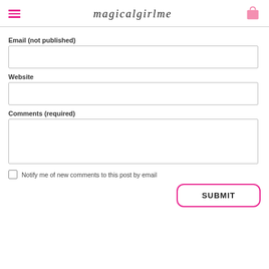magicalgirlme
Email (not published)
Website
Comments (required)
Notify me of new comments to this post by email
SUBMIT